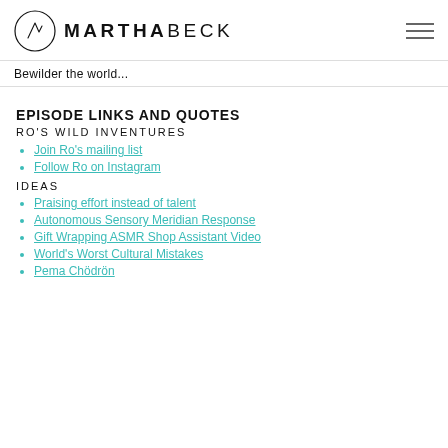MARTHABECK
Bewilder the world...
EPISODE LINKS AND QUOTES
RO'S WILD INVENTURES
Join Ro's mailing list
Follow Ro on Instagram
IDEAS
Praising effort instead of talent
Autonomous Sensory Meridian Response
Gift Wrapping ASMR Shop Assistant Video
World's Worst Cultural Mistakes
Pema Chödrön